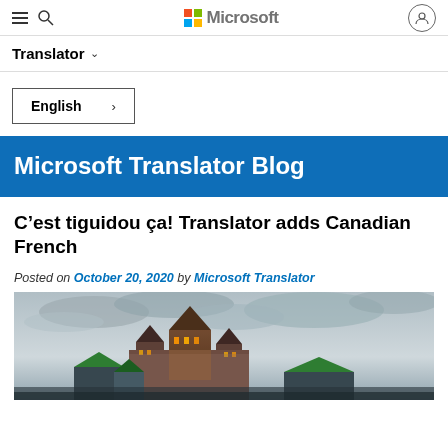Microsoft — Translator navigation header
Translator
English >
Microsoft Translator Blog
C’est tiguidou ça! Translator adds Canadian French
Posted on October 20, 2020 by Microsoft Translator
[Figure (photo): Photo of a historic castle-style building (Chateau Frontenac, Quebec City) with illuminated towers against a dramatic cloudy sky, with green-roofed buildings in the foreground.]